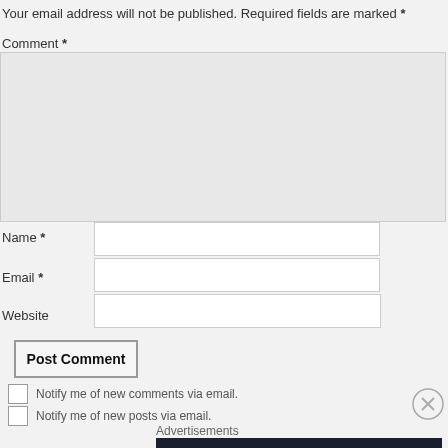Your email address will not be published. Required fields are marked *
Comment *
Name *
Email *
Website
Post Comment
Notify me of new comments via email.
Notify me of new posts via email.
Advertisements
[Figure (infographic): Ad banner: dark background with tree/cloud icon, teal text 'Launch your online course with WordPress', and 'Learn More' link]